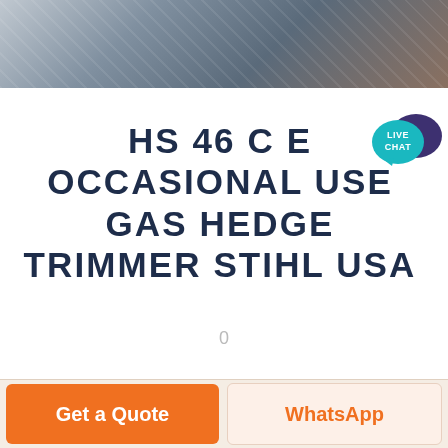[Figure (photo): Partial photo of a hedge trimmer or outdoor power equipment, shown cropped at the top of the page]
HS 46 C E OCCASIONAL USE GAS HEDGE TRIMMER STIHL USA
0
Get a Quote
WhatsApp